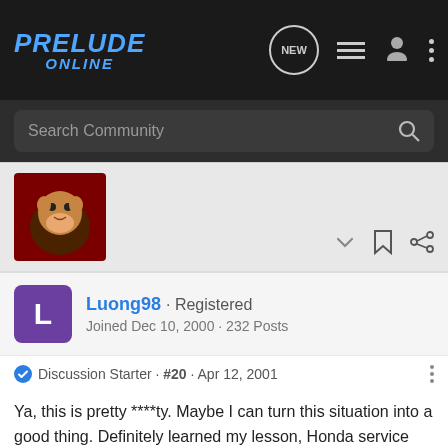PRELUDE ONLINE
Search Community
[Figure (photo): User avatar image showing a cartoon monkey character on a dark red background]
Luong98 · Registered
Joined Dec 10, 2000 · 232 Posts
Discussion Starter · #20 · Apr 12, 2001
Ya, this is pretty ****ty. Maybe I can turn this situation into a good thing. Definitely learned my lesson, Honda service sucks and next time get a Toyota instead. Just kidding! Since my engine is going to be torn apart, I guest I should take advantage of this and add in aftermarket parts. Any suggestion?